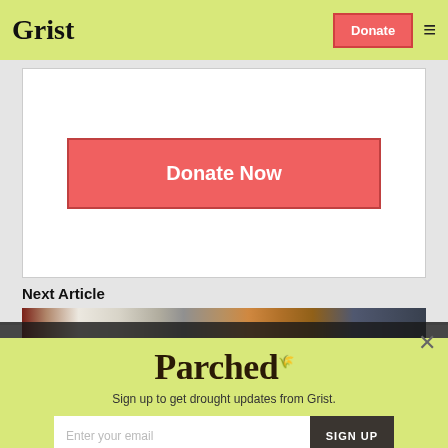Grist  |  Donate  |  ☰
[Figure (other): Donate Now button inside a white bordered box on a light gray background]
Next Article
[Figure (photo): Photo showing a sign that says CHIPS and food items in the background]
[Figure (other): Parched newsletter popup overlay with yellow-green background, email signup form, and No thanks link. Title: Parched. Subtitle: Sign up to get drought updates from Grist.]